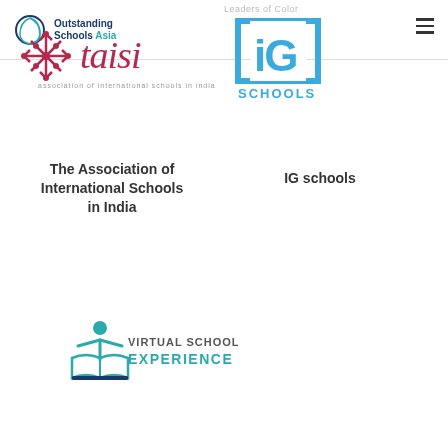Outstanding Schools Asia
Leaders of Color
[Figure (logo): TAISI logo - snowflake/asterisk symbol in dark red with 'taisi' text in red cursive style, subtitle text below]
[Figure (logo): IG Schools logo - blue square bracket design with 'iG' letters and 'SCHOOLS' text below in blue]
The Association of International Schools in India
IG schools
[Figure (logo): Virtual School Experience logo - teal figure above open book with 'VIRTUAL SCHOOL EXPERIENCE' text]